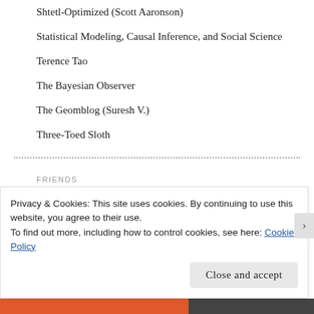Shtetl-Optimized (Scott Aaronson)
Statistical Modeling, Causal Inference, and Social Science
Terence Tao
The Bayesian Observer
The Geomblog (Suresh V.)
Three-Toed Sloth
FRIENDS
Amitha Knight
Information Ashwins
Privacy & Cookies: This site uses cookies. By continuing to use this website, you agree to their use.
To find out more, including how to control cookies, see here: Cookie Policy
Close and accept